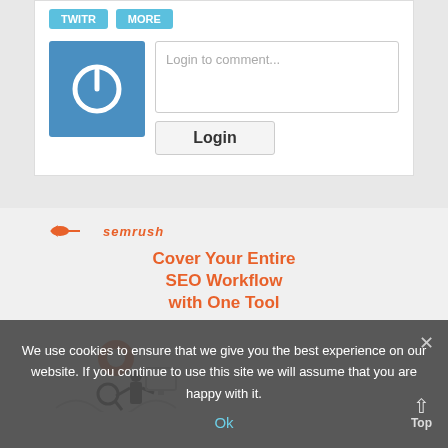[Figure (screenshot): Login to comment section with blue power icon avatar, text input field with placeholder 'Login to comment...', and a Login button]
[Figure (screenshot): SEMrush advertisement with logo, orange text 'Cover Your Entire SEO Workflow with One Tool', and an illustration of a person with a magnifying glass and SEO-related imagery]
We use cookies to ensure that we give you the best experience on our website. If you continue to use this site we will assume that you are happy with it.
Ok